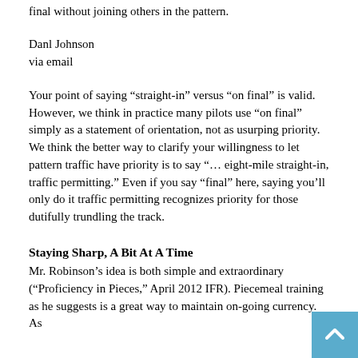final without joining others in the pattern.
Danl Johnson
via email
Your point of saying “straight-in” versus “on final” is valid. However, we think in practice many pilots use “on final” simply as a statement of orientation, not as usurping priority. We think the better way to clarify your willingness to let pattern traffic have priority is to say “… eight-mile straight-in, traffic permitting.” Even if you say “final” here, saying you’ll only do it traffic permitting recognizes priority for those dutifully trundling the track.
Staying Sharp, A Bit At A Time
Mr. Robinson’s idea is both simple and extraordinary (“Proficiency in Pieces,” April 2012 IFR). Piecemeal training as he suggests is a great way to maintain on-going currency. As